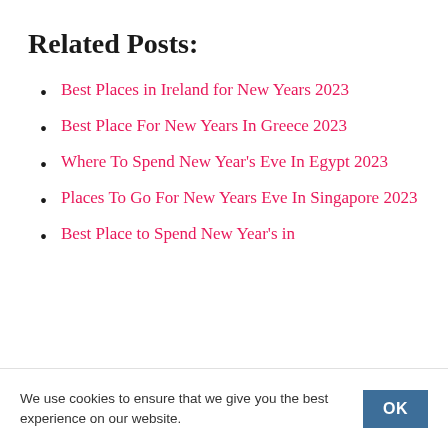Related Posts:
Best Places in Ireland for New Years 2023
Best Place For New Years In Greece 2023
Where To Spend New Year's Eve In Egypt 2023
Places To Go For New Years Eve In Singapore 2023
Best Place to Spend New Year's in
We use cookies to ensure that we give you the best experience on our website.